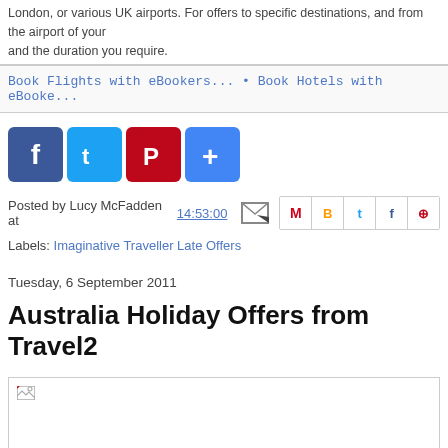London, or various UK airports. For offers to specific destinations, and from the airport of your choice and the duration you require.
Book Flights with eBookers... • Book Hotels with eBookers...
[Figure (other): Social media sharing buttons: Facebook (blue), Twitter (light blue), Pinterest (red), Google+ (blue)]
Posted by Lucy McFadden at 14:53:00
Labels: Imaginative Traveller Late Offers
Tuesday, 6 September 2011
Australia Holiday Offers from Travel2
[Figure (photo): Broken image placeholder for Australia holiday photo]